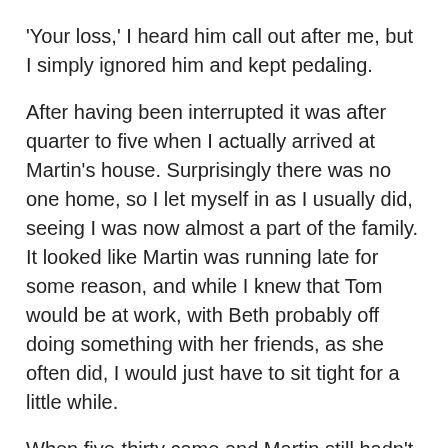'Your loss,' I heard him call out after me, but I simply ignored him and kept pedaling.
After having been interrupted it was after quarter to five when I actually arrived at Martin's house. Surprisingly there was no one home, so I let myself in as I usually did, seeing I was now almost a part of the family. It looked like Martin was running late for some reason, and while I knew that Tom would be at work, with Beth probably off doing something with her friends, as she often did, I would just have to sit tight for a little while.
When five-thirty came and Martin still hadn't arrived I was starting to get worried, as it was unlike him to be this late, at least not without calling or leaving a message of some sort. I tried calling his phone, but each time it kept going